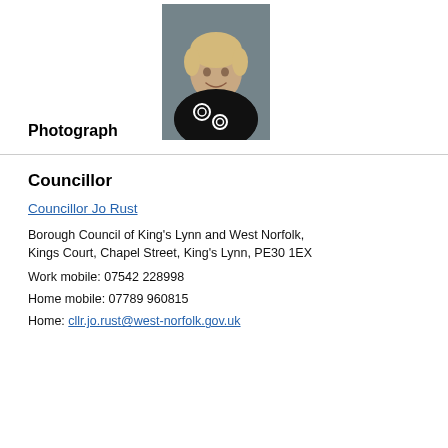[Figure (photo): Headshot photograph of Councillor Jo Rust, a woman with short blonde hair wearing a black patterned top, against a grey background]
Photograph
Councillor
Councillor Jo Rust
Borough Council of King's Lynn and West Norfolk, Kings Court, Chapel Street, King's Lynn, PE30 1EX
Work mobile: 07542 228998
Home mobile: 07789 960815
Home: cllr.jo.rust@west-norfolk.gov.uk